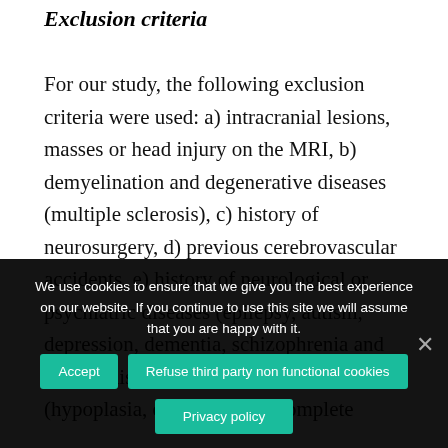Exclusion criteria
For our study, the following exclusion criteria were used: a) intracranial lesions, masses or head injury on the MRI, b) demyelination and degenerative diseases (multiple sclerosis), c) history of neurosurgery, d) previous cerebrovascular accidents, e) history of neurological or psychiatric diseases (epilepsy, autism, depression, dementia, schizophrenia and bipolar disorder), and g) CC anomalies (hypoplasia, dysplasia, and complete
We use cookies to ensure that we give you the best experience on our website. If you continue to use this site we will assume that you are happy with it.